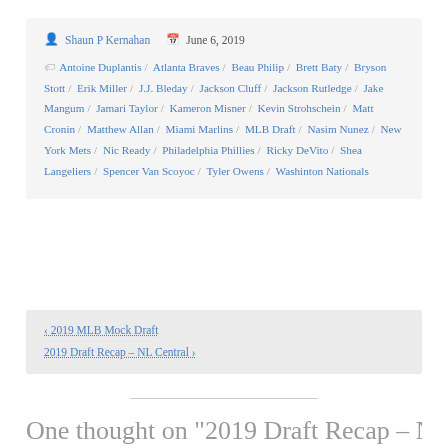Shaun P Kernahan  June 6, 2019
Antoine Duplantis / Atlanta Braves / Beau Philip / Brett Baty / Bryson Stott / Erik Miller / J.J. Bleday / Jackson Cluff / Jackson Rutledge / Jake Mangum / Jamari Taylor / Kameron Misner / Kevin Strohschein / Matt Cronin / Matthew Allan / Miami Marlins / MLB Draft / Nasim Nunez / New York Mets / Nic Ready / Philadelphia Phillies / Ricky DeVito / Shea Langeliers / Spencer Van Scoyoc / Tyler Owens / Washinton Nationals
‹ 2019 MLB Mock Draft
2019 Draft Recap – NL Central ›